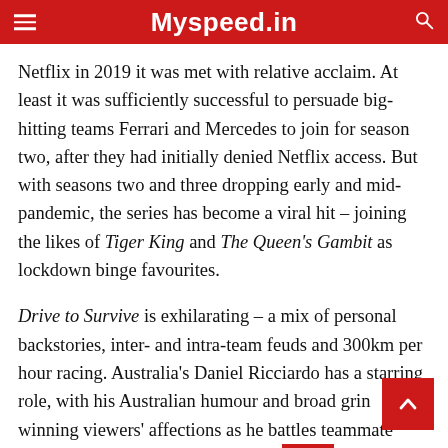Myspeed.in
Netflix in 2019 it was met with relative acclaim. At least it was sufficiently successful to persuade big-hitting teams Ferrari and Mercedes to join for season two, after they had initially denied Netflix access. But with seasons two and three dropping early and mid-pandemic, the series has become a viral hit – joining the likes of Tiger King and The Queen’s Gambit as lockdown binge favourites.
Drive to Survive is exhilarating – a mix of personal backstories, inter- and intra-team feuds and 300km per hour racing. Australia’s Daniel Ricciardo has a starring role, with his Australian humour and broad grin winning viewers’ affections as he battles teammate Max Verstappen at Red Bull in season one, before jumping ship for Renault.